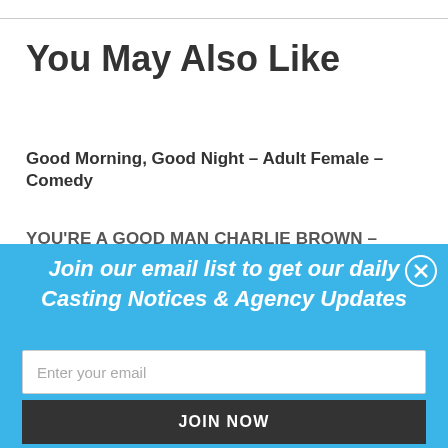You May Also Like
Good Morning, Good Night – Adult Female – Comedy
YOU'RE A GOOD MAN CHARLIE BROWN –
Join our email list to get our daily Casting Notices & Agency Updates
Enter your email
JOIN NOW